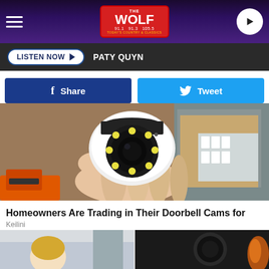THE WOLF 91.1 91.3 105.5 - LISTEN NOW - PATY QUYN
[Figure (screenshot): Social share and tweet buttons, Facebook Share (blue) and Twitter Tweet (light blue)]
[Figure (photo): A hand holding a small white security camera with a circular lens and LED ring, with an orange power tool in the lower left and cardboard boxes with white components in the background]
Homeowners Are Trading in Their Doorbell Cams for This.
Keilini
[Figure (photo): Partial view of a second article image showing a person and what appears to be a security or doorbell camera on a wall, bottom of page]